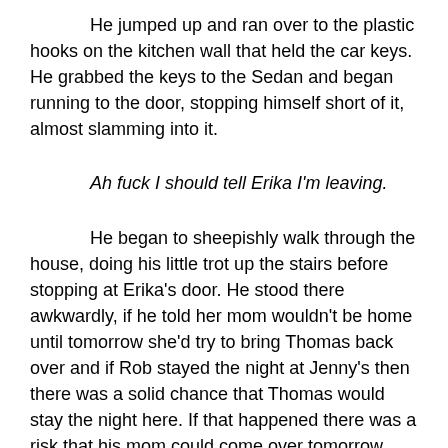He jumped up and ran over to the plastic hooks on the kitchen wall that held the car keys. He grabbed the keys to the Sedan and began running to the door, stopping himself short of it, almost slamming into it.
Ah fuck I should tell Erika I'm leaving.
He began to sheepishly walk through the house, doing his little trot up the stairs before stopping at Erika's door. He stood there awkwardly, if he told her mom wouldn't be home until tomorrow she'd try to bring Thomas back over and if Rob stayed the night at Jenny's then there was a solid chance that Thomas would stay the night here. If that happened there was a risk that his mom could come over tomorrow and find Thomas hanging out, he could say goodbye to Miami for sure if that happened.